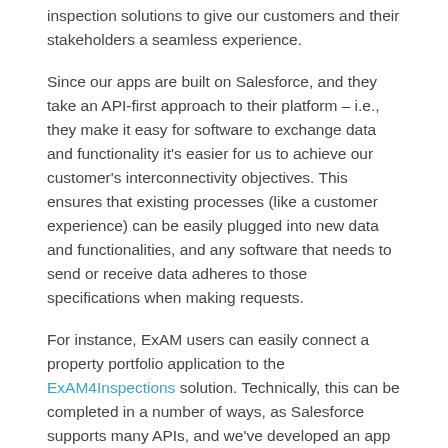inspection solutions to give our customers and their stakeholders a seamless experience.
Since our apps are built on Salesforce, and they take an API-first approach to their platform – i.e., they make it easy for software to exchange data and functionality it's easier for us to achieve our customer's interconnectivity objectives. This ensures that existing processes (like a customer experience) can be easily plugged into new data and functionalities, and any software that needs to send or receive data adheres to those specifications when making requests.
For instance, ExAM users can easily connect a property portfolio application to the ExAM4Inspections solution. Technically, this can be completed in a number of ways, as Salesforce supports many APIs, and we've developed an app called ExAM Connect that can help accelerate your journey towards interconnectivity. (More on this below).